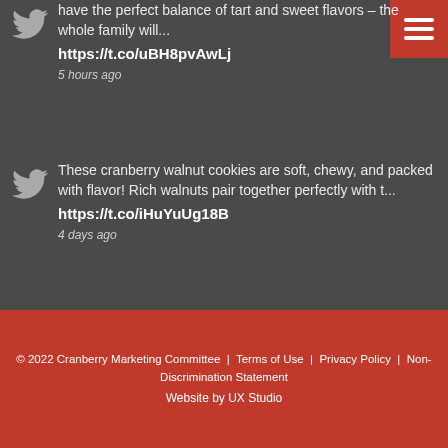have the perfect balance of tart and sweet flavors – the whole family will... https://t.co/uBH8pvAwLj 5 hours ago
These cranberry walnut cookies are soft, chewy, and packed with flavor! Rich walnuts pair together perfectly with t... https://t.co/iHuYuUg18B 4 days ago
© 2022 Cranberry Marketing Committee | Terms of Use | Privacy Policy | Non-Discrimination Statement Website by UX Studio